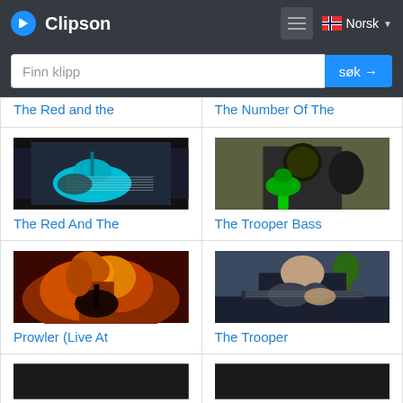Clipson
Finn klipp
søk →
The Red and the
The Number Of The
[Figure (photo): Video thumbnail showing a teal/cyan electric guitar being played]
The Red And The
[Figure (photo): Video thumbnail showing a person in a mask playing a green electric guitar]
The Trooper Bass
[Figure (photo): Video thumbnail showing a female guitarist with fiery/orange background]
Prowler (Live At
[Figure (photo): Video thumbnail showing a person playing acoustic guitar]
The Trooper
[Figure (photo): Partial video thumbnail at bottom left]
[Figure (photo): Partial video thumbnail at bottom right]